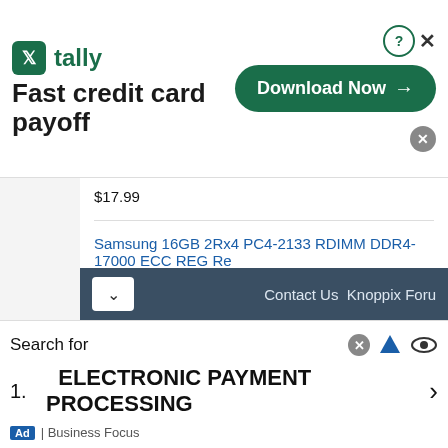[Figure (screenshot): Tally app advertisement banner: logo, 'Fast credit card payoff' tagline, Download Now button, close/help icons]
$17.99
Samsung 16GB 2Rx4 PC4-2133 RDIMM DDR4-17000 ECC REG Re Memory RAM
$27.99
Memory Card Reader Mini 26-IN-1 USB 2.0 High Speed For CF xD S
$5.49
Contact Us  Knoppix Foru
Search for
1.  ELECTRONIC PAYMENT PROCESSING
Ad | Business Focus